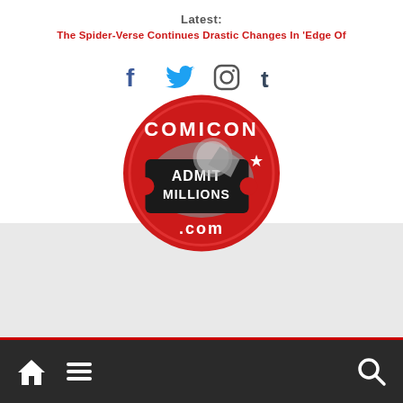Latest: The Spider-Verse Continues Drastic Changes In 'Edge Of
[Figure (logo): Social media icons: Facebook, Twitter, Instagram, Tumblr]
[Figure (logo): Comicon.com logo - red circular badge with 'COMICON' text and 'ADMIT MILLIONS' ticket graphic and '.com' text]
[Figure (other): Bottom navigation bar with dark background, red top border, home icon, hamburger menu icon, and search icon]